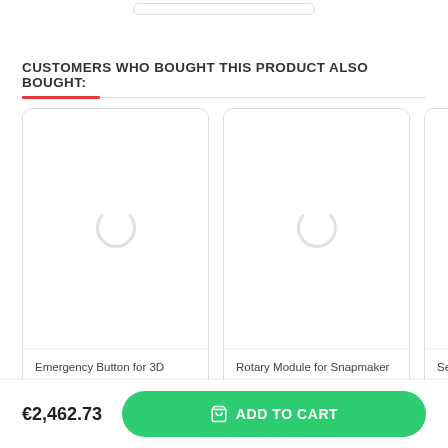CUSTOMERS WHO BOUGHT THIS PRODUCT ALSO BOUGHT:
[Figure (screenshot): Product card: Emergency Button for 3D printer Snapmaker 2.0 with loading spinner placeholder image]
[Figure (screenshot): Product card: Rotary Module for Snapmaker 2.0 A350T with loading spinner placeholder image]
[Figure (screenshot): Partially visible product card: Set of [something] Snapm... with loading spinner placeholder image]
€2,462.73
ADD TO CART